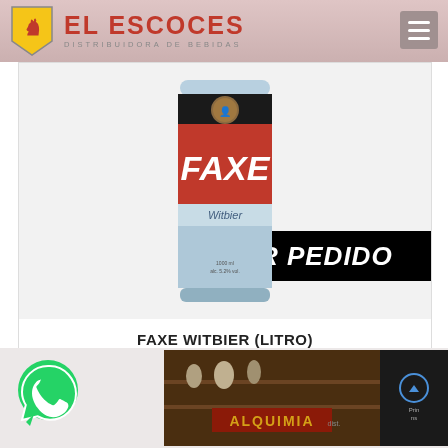EL ESCOCES - DISTRIBUIDORA DE BEBIDAS
[Figure (photo): FAXE Witbier 1L beer can with red band and light blue body, with black 'POR PEDIDO' overlay banner]
FAXE WITBIER (LITRO)
1000CC
$ 914,54
[Figure (photo): WhatsApp green phone icon bubble]
[Figure (photo): Alquimia product partial image showing dark bar/distillery background with ALQUIMIA text]